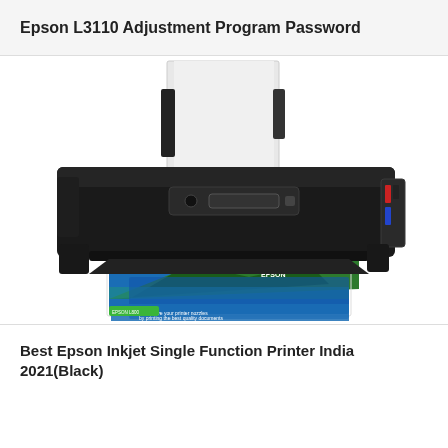Epson L3110 Adjustment Program Password
[Figure (photo): Photo of an Epson inkjet printer (black, single function) with a colorful landscape photo being printed from it and a stack of white paper in the top paper feed]
Best Epson Inkjet Single Function Printer India 2021(Black)